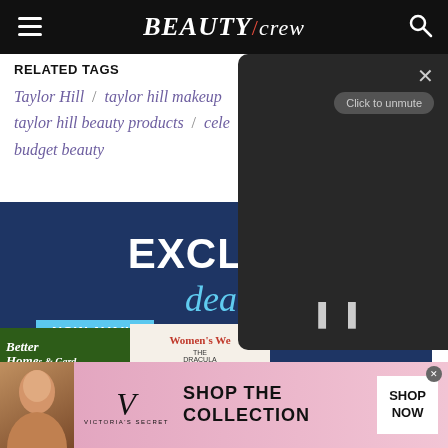BEAUTY/crew
RELATED TAGS
Taylor Hill / taylor hill makeup / taylor hill beauty products / celebrity budget beauty
[Figure (screenshot): Video overlay panel on right side with dark background, X close button, 'Click to unmute' button, and pause controls]
[Figure (photo): Advertisement for magshop showing EXCLUSIVE deals NOW AVAILABLE with Better Homes and Gardens and Women's Weekly magazine covers]
[Figure (photo): Victoria's Secret advertisement banner with model photo, VS logo, SHOP THE COLLECTION text, and SHOP NOW button]